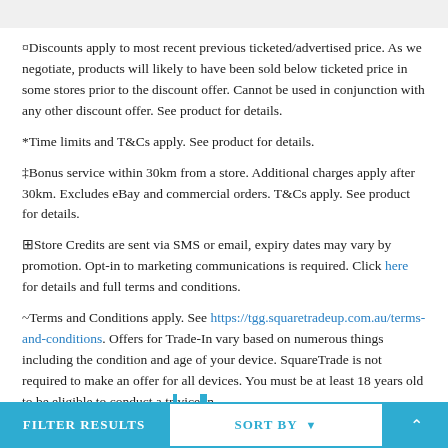¤Discounts apply to most recent previous ticketed/advertised price. As we negotiate, products will likely to have been sold below ticketed price in some stores prior to the discount offer. Cannot be used in conjunction with any other discount offer. See product for details.
*Time limits and T&Cs apply. See product for details.
‡Bonus service within 30km from a store. Additional charges apply after 30km. Excludes eBay and commercial orders. T&Cs apply. See product for details.
⊟Store Credits are sent via SMS or email, expiry dates may vary by promotion. Opt-in to marketing communications is required. Click here for details and full terms and conditions.
~Terms and Conditions apply. See https://tgg.squaretradeup.com.au/terms-and-conditions. Offers for Trade-In vary based on numerous things including the condition and age of your device. SquareTrade is not required to make an offer for all devices. You must be at least 18 years old to be eligible to conduct a tr[...] vices [...] up[...] [...] s m[...]
are solely responsible for removing all data from the device prior to shipping